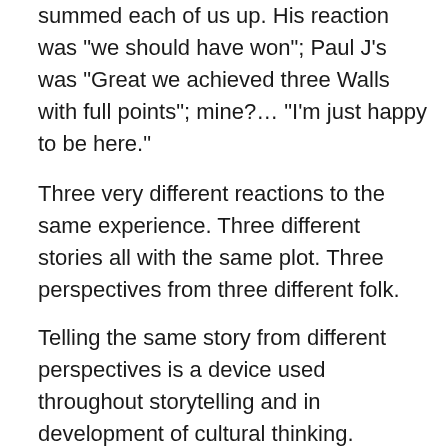summed each of us up. His reaction was "we should have won"; Paul J's was "Great we achieved three Walls with full points"; mine?… "I'm just happy to be here."
Three very different reactions to the same experience. Three different stories all with the same plot. Three perspectives from three different folk.
Telling the same story from different perspectives is a device used throughout storytelling and in development of cultural thinking. Probably one of the most well known examples is in the Kurosawa film Rashomon. This is a mystery where a murder is recounted by four different people and the result is a fine study of the nature of truth as defined through perspective. This approach has been used in stories, films and religious texts. Hero uses a similar device with the Hero and the Emperor reinterpreting events around how the Hero killed the